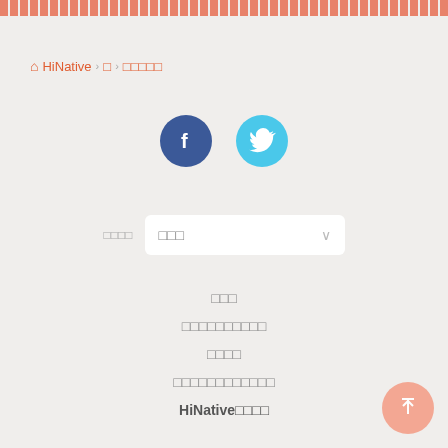HiNative > □ > □□□□□
[Figure (other): Facebook and Twitter social share icon buttons]
□□□□  □□□ ∨
□□□
□□□□□□□□□□
□□□□
□□□□□□□□□□□□
HiNative□□□□